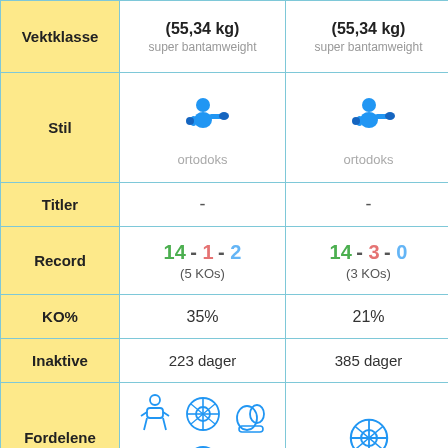|  | Fighter 1 | Fighter 2 |
| --- | --- | --- |
| Vektklasse | (55,34 kg)
super bantamweight | (55,34 kg)
super bantamweight |
| Stil | ortodoks | ortodoks |
| Titler | - | - |
| Record | 14 - 1 - 2
(5 KOs) | 14 - 3 - 0
(3 KOs) |
| KO% | 35% | 21% |
| Inaktive | 223 dager | 385 dager |
| Fordelene | [icons] | [icons] |